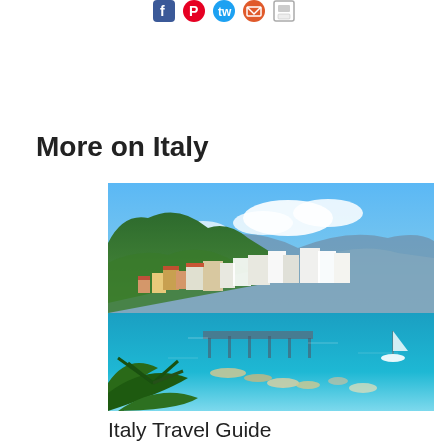[social share icons: Facebook, Pinterest, Twitter, Email, Print]
More on Italy
[Figure (photo): Aerial view of Amalfi Coast, Italy, showing colorful buildings on steep hillsides overlooking a blue harbor with boats and green vegetation in the foreground]
Italy Travel Guide